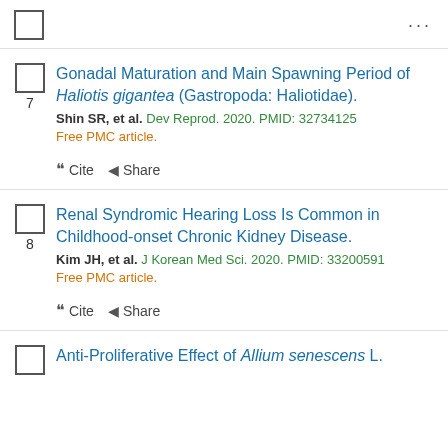...
Gonadal Maturation and Main Spawning Period of Haliotis gigantea (Gastropoda: Haliotidae).
Shin SR, et al. Dev Reprod. 2020. PMID: 32734125
Free PMC article.
Cite  Share
Renal Syndromic Hearing Loss Is Common in Childhood-onset Chronic Kidney Disease.
Kim JH, et al. J Korean Med Sci. 2020. PMID: 33200591
Free PMC article.
Cite  Share
Anti-Proliferative Effect of Allium senescens L.